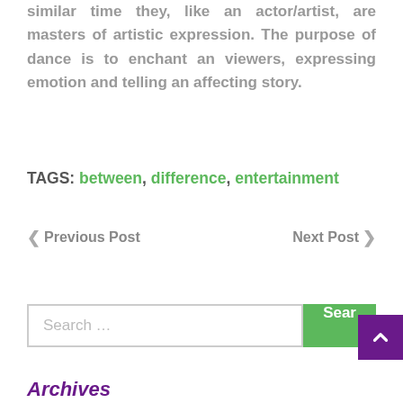similar time they, like an actor/artist, are masters of artistic expression. The purpose of dance is to enchant an viewers, expressing emotion and telling an affecting story.
TAGS: between, difference, entertainment
< Previous Post    Next Post >
Search …  Search
Archives